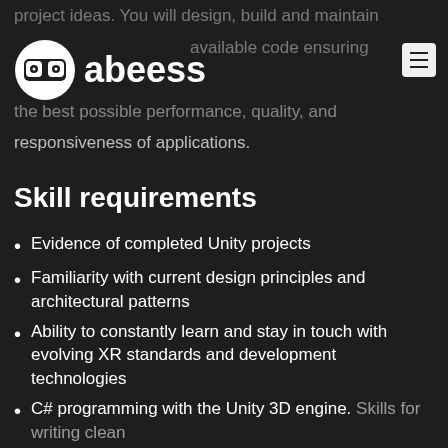abeess
project ideas. You will design, build and maintain available code ensuring the best possible performance, quality, and responsiveness of applications.
Skill requirements
Evidence of completed Unity projects
Familiarity with current design principles and architectural patterns
Ability to constantly learn and stay in touch with evolving XR standards and development technologies
C# programming with the Unity 3D engine. Skills for writing clean